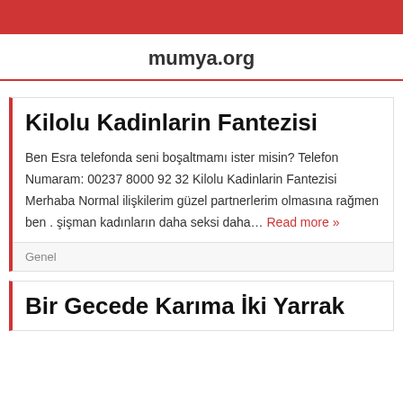mumya.org
Kilolu Kadinlarin Fantezisi
Ben Esra telefonda seni boşaltmamı ister misin? Telefon Numaram: 00237 8000 92 32 Kilolu Kadinlarin Fantezisi Merhaba Normal ilişkilerim güzel partnerlerim olmasına rağmen ben . şişman kadınların daha seksi daha… Read more »
Genel
Bir Gecede Karıma İki Yarrak